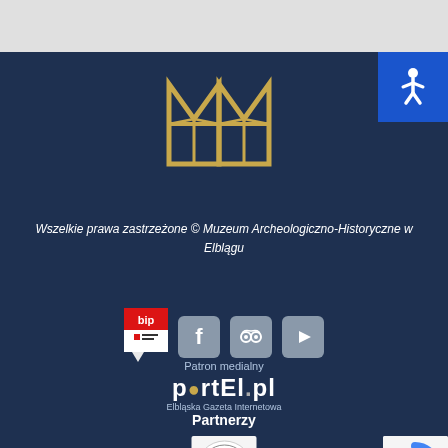[Figure (logo): Museum logo - golden geometric M-shape with diamond pattern]
[Figure (logo): Accessibility icon - white wheelchair symbol on blue background]
Wszelkie prawa zastrzeżone © Muzeum Archeologiczno-Historyczne w Elblągu
[Figure (logo): BIP logo - red and white Polish public information bulletin logo]
[Figure (logo): Facebook icon - grey F logo]
[Figure (logo): TripAdvisor icon - grey owl logo]
[Figure (logo): YouTube icon - grey play button]
Patron medialny
[Figure (logo): portEl.pl - Elbląska Gazeta Internetowa logo]
Partnerzy
[Figure (logo): Partner logo - circular medical/organization seal]
[Figure (logo): reCAPTCHA Privacy Terms logo]